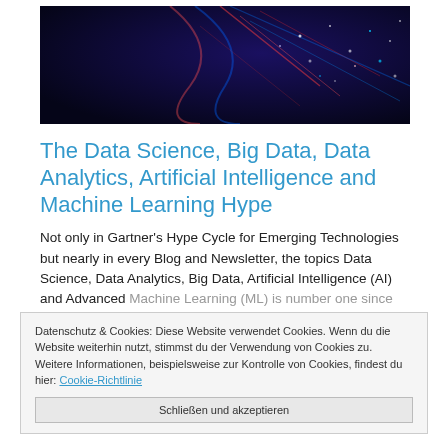[Figure (photo): Dark digital/AI themed hero image with network data visualization, glowing particles and light trails on dark blue/black background]
The Data Science, Big Data, Data Analytics, Artificial Intelligence and Machine Learning Hype
Not only in Gartner's Hype Cycle for Emerging Technologies but nearly in every Blog and Newsletter, the topics Data Science, Data Analytics, Big Data, Artificial Intelligence (AI) and Advanced Machine Learning (ML) is number one since some month. The hype about this technologies is on it's top. Smart Factory (Industry 4.0) also contributes to the fact, because on of the four pillars of Smart Factory (Industry 4.0) is Data Analytics and Big Data.
Datenschutz & Cookies: Diese Website verwendet Cookies. Wenn du die Website weiterhin nutzt, stimmst du der Verwendung von Cookies zu. Weitere Informationen, beispielsweise zur Kontrolle von Cookies, findest du hier: Cookie-Richtlinie
Schließen und akzeptieren